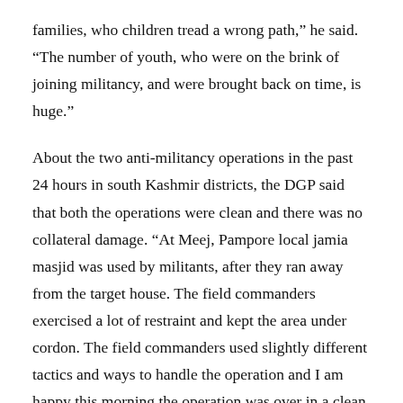families, who children tread a wrong path,” he said. “The number of youth, who were on the brink of joining militancy, and were brought back on time, is huge.”
About the two anti-militancy operations in the past 24 hours in south Kashmir districts, the DGP said that both the operations were clean and there was no collateral damage. “At Meej, Pampore local jamia masjid was used by militants, after they ran away from the target house. The field commanders exercised a lot of restraint and kept the area under cordon. The field commanders used slightly different tactics and ways to handle the operation and I am happy this morning the operation was over in a clean manner,” he said.
The DGP said that there was not even the minutest damage